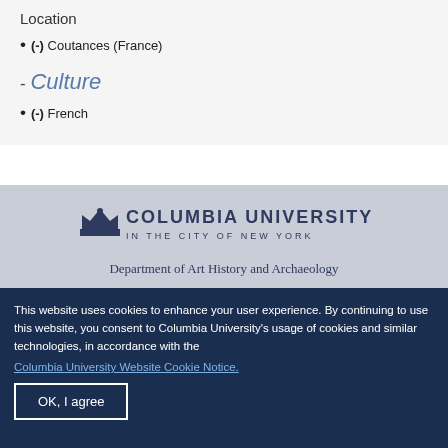Location
(-) Coutances (France)
- Culture
(-) French
[Figure (logo): Columbia University crown logo with text 'COLUMBIA UNIVERSITY IN THE CITY OF NEW YORK']
Department of Art History and Archaeology
This website uses cookies to enhance your user experience. By continuing to use this website, you consent to Columbia University's usage of cookies and similar technologies, in accordance with the Columbia University Website Cookie Notice.